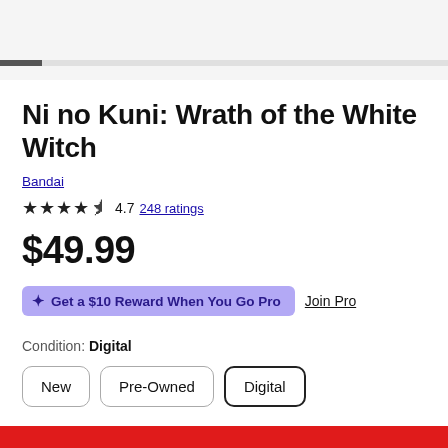Ni no Kuni: Wrath of the White Witch
Bandai
★★★★½ 4.7 248 ratings
$49.99
✦ Get a $10 Reward When You Go Pro  Join Pro
Condition: Digital
New  Pre-Owned  Digital